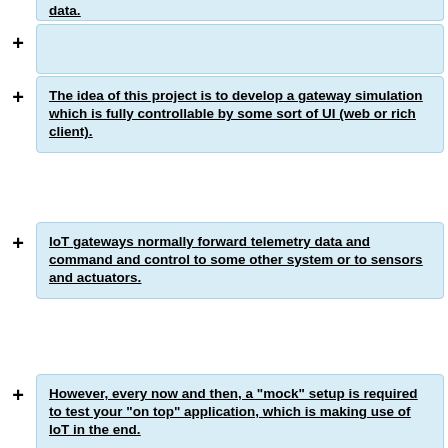data.
The idea of this project is to develop a gateway simulation which is fully controllable by some sort of UI (web or rich client).
IoT gateways normally forward telemetry data and command and control to some other system or to sensors and actuators.
However, every now and then, a "mock" setup is required to test your "on top" application, which is making use of IoT in the end.